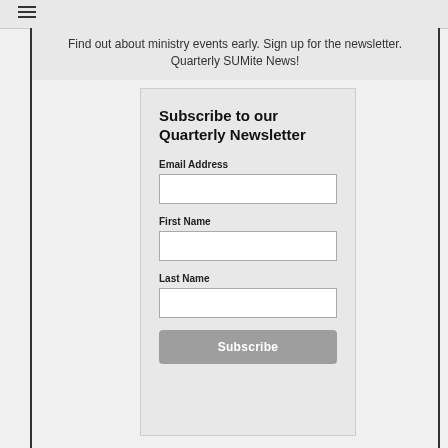≡
Find out about ministry events early. Sign up for the newsletter. Quarterly SUMite News!
Subscribe to our Quarterly Newsletter
Email Address
First Name
Last Name
Subscribe